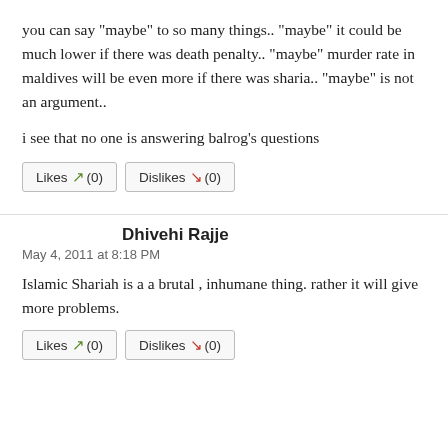you can say "maybe" to so many things.. "maybe" it could be much lower if there was death penalty.. "maybe" murder rate in maldives will be even more if there was sharia.. "maybe" is not an argument..
i see that no one is answering balrog's questions
Likes (0)  Dislikes (0)
Dhivehi Rajje
May 4, 2011 at 8:18 PM
Islamic Shariah is a a brutal , inhumane thing. rather it will give more problems.
Likes (0)  Dislikes (0)